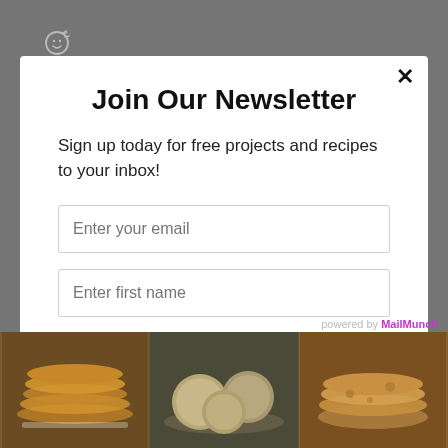[Figure (screenshot): Emoji face icon (add reaction) in dark gray area top left]
Join Our Newsletter
Sign up today for free projects and recipes to your inbox!
Enter your email
Enter first name
Subscribe
[Figure (photo): Three food photos at bottom: stack of pancakes, biscuits/scones on a plate, and flatbread/pancakes]
powered by MailMunch